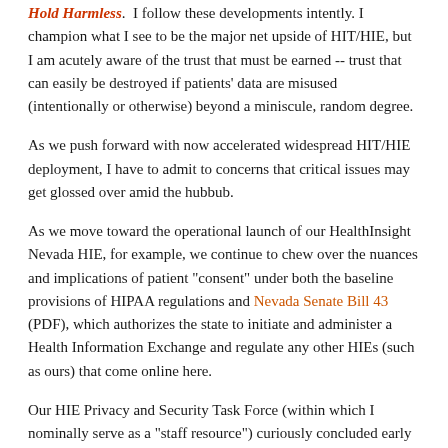Hold Harmless. I follow these developments intently. I champion what I see to be the major net upside of HIT/HIE, but I am acutely aware of the trust that must be earned -- trust that can easily be destroyed if patients' data are misused (intentionally or otherwise) beyond a miniscule, random degree.
As we push forward with now accelerated widespread HIT/HIE deployment, I have to admit to concerns that critical issues may get glossed over amid the hubbub.
As we move toward the operational launch of our HealthInsight Nevada HIE, for example, we continue to chew over the nuances and implications of patient "consent" under both the baseline provisions of HIPAA regulations and Nevada Senate Bill 43 (PDF), which authorizes the state to initiate and administer a Health Information Exchange and regulate any other HIEs (such as ours) that come online here.
Our HIE Privacy and Security Task Force (within which I nominally serve as a "staff resource") curiously concluded early on that "Nevada is an opt-in state," notwithstanding that the statute does not say that. The word "opt" appears only twice [15(2)(b) and (c)], each time followed by the word "out." **
[Figure (photo): Bottom portion of an image showing what appears to be stacked books or documents with a warm yellow/golden background, partially visible at the bottom of the page.]